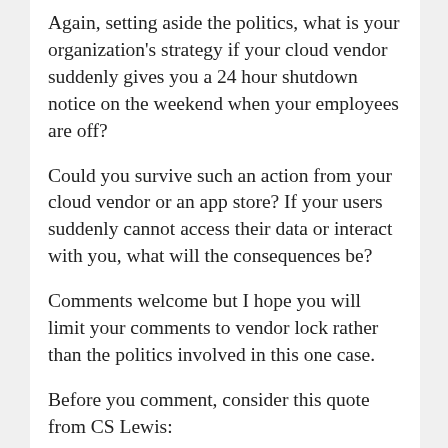Again, setting aside the politics, what is your organization's strategy if your cloud vendor suddenly gives you a 24 hour shutdown notice on the weekend when your employees are off?
Could you survive such an action from your cloud vendor or an app store? If your users suddenly cannot access their data or interact with you, what will the consequences be?
Comments welcome but I hope you will limit your comments to vendor lock rather than the politics involved in this one case.
Before you comment, consider this quote from CS Lewis:
"Of all tyrannies, a tyranny sincerely exercised for the good of its victims may be the most